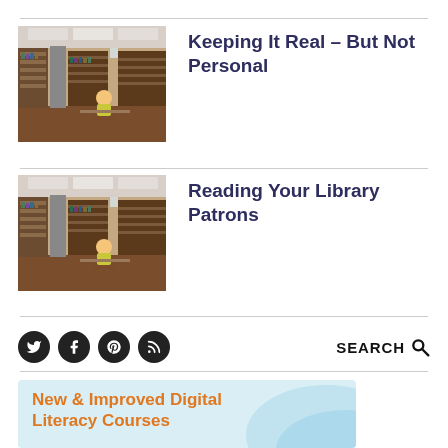[Figure (photo): Library interior with bookshelves, columns, and a student sitting at a desk]
Keeping It Real – But Not Personal
[Figure (photo): Library interior with bookshelves, columns, and a student sitting at a desk]
Reading Your Library Patrons
SEARCH
[Figure (infographic): New & Improved Digital Literacy Courses promotional banner with light blue background]